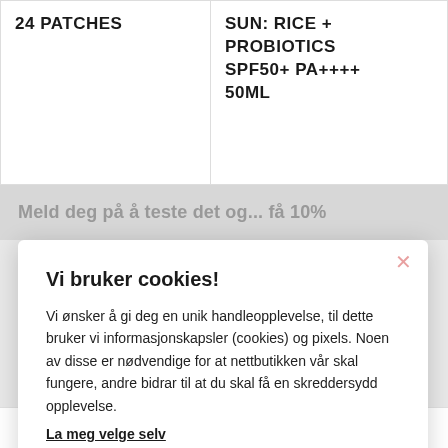24 PATCHES
SUN: RICE + PROBIOTICS SPF50+ PA++++ 50ML
Meld deg på å teste det og... få 10%
Vi bruker cookies!
Vi ønsker å gi deg en unik handleopplevelse, til dette bruker vi informasjonskapsler (cookies) og pixels. Noen av disse er nødvendige for at nettbutikken vår skal fungere, andre bidrar til at du skal få en skreddersydd opplevelse.
La meg velge selv
Godta alle
Godta kun nødvendige
Meny | Søk | Min konto | Handlevogn